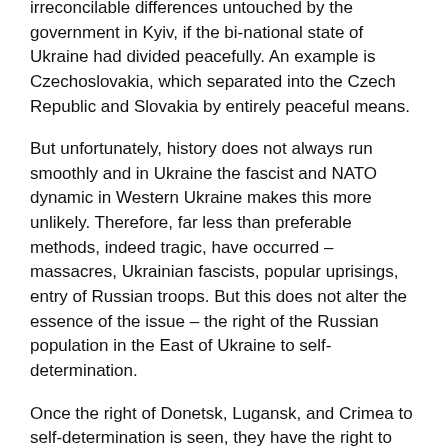irreconcilable differences untouched by the government in Kyiv, if the bi-national state of Ukraine had divided peacefully. An example is Czechoslovakia, which separated into the Czech Republic and Slovakia by entirely peaceful means.
But unfortunately, history does not always run smoothly and in Ukraine the fascist and NATO dynamic in Western Ukraine makes this more unlikely. Therefore, far less than preferable methods, indeed tragic, have occurred – massacres, Ukrainian fascists, popular uprisings, entry of Russian troops. But this does not alter the essence of the issue – the right of the Russian population in the East of Ukraine to self-determination.
Once the right of Donetsk, Lugansk, and Crimea to self-determination is seen, they have the right to decide which military measures they wish to use to safeguard this. Faced with Kyiv's policy of national oppression, and alliance with fascists, anyone with sense in Eastern Ukraine would sleep more securely knowing they were protected by the regular Russian army than only by East Ukrainian militias.